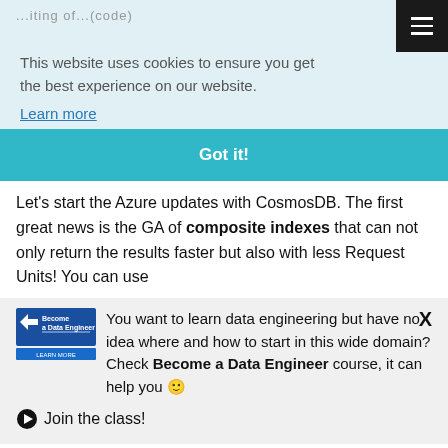...iting of...(code)
This website uses cookies to ensure you get the best experience on our website.
Learn more
Got it!
Let's start the Azure updates with CosmosDB. The first great news is the GA of composite indexes that can not only return the results faster but also with less Request Units! You can use
[Figure (logo): Become a Data Engineer logo with blue arrow icon and blue banner]
You want to learn data engineering but have no idea where and how to start in this wide domain? Check Become a Data Engineer course, it can help you 🙂
➡ Join the class!